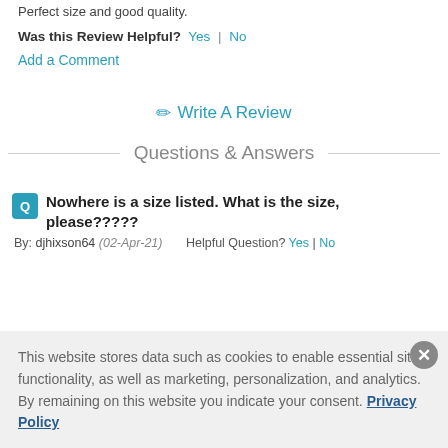Perfect size and good quality.
Was this Review Helpful? Yes | No
Add a Comment
✏ Write A Review
Questions & Answers
Nowhere is a size listed. What is the size, please?????
By: djhixson64 (02-Apr-21)    Helpful Question? Yes | No
This website stores data such as cookies to enable essential site functionality, as well as marketing, personalization, and analytics. By remaining on this website you indicate your consent. Privacy Policy